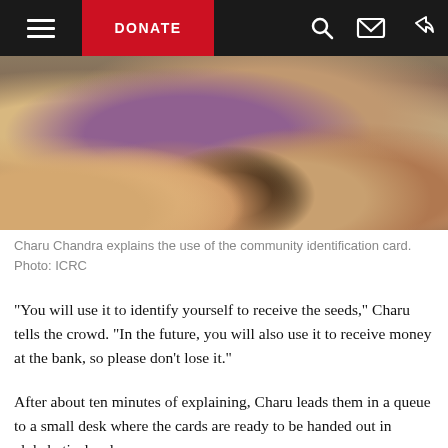DONATE
[Figure (photo): Group of people, mostly seen from behind, sitting together outdoors in a crowd. Community gathering scene.]
Charu Chandra explains the use of the community identification card. Photo: ICRC
"You will use it to identify yourself to receive the seeds," Charu tells the crowd. "In the future, you will also use it to receive money at the bank, so please don't lose it."
After about ten minutes of explaining, Charu leads them in a queue to a small desk where the cards are ready to be handed out in alphabetical order.